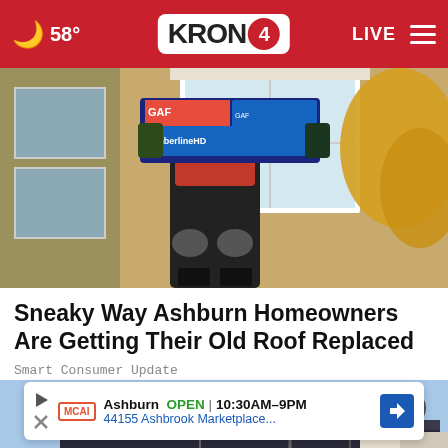☁ 58° | KRON 4 | LIVE
[Figure (photo): Person carrying GAF Timberline HD roofing shingles boxes, wearing work clothes with knee pads, in front of a house with windows]
Sneaky Way Ashburn Homeowners Are Getting Their Old Roof Replaced
Smart Consumer Update
[Figure (photo): Aerial or street-level view of a large parking lot with a commercial building and blue sky in the background]
Ashburn  OPEN  10:30AM-9PM
44155 Ashbrook Marketplace...